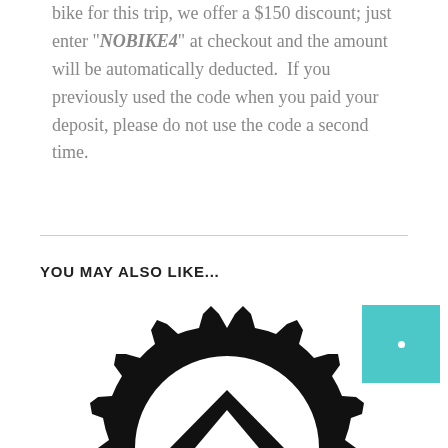bike for this trip, we offer a $150 discount; just enter "NOBIKE4" at checkout and the amount will be automatically deducted.  If you previously used the code when you paid your deposit, please do not use the code a second time.
YOU MAY ALSO LIKE...
[Figure (illustration): A large black gear/cog wheel icon with a mountain or chevron shape inside it, partially visible at the bottom of the page.]